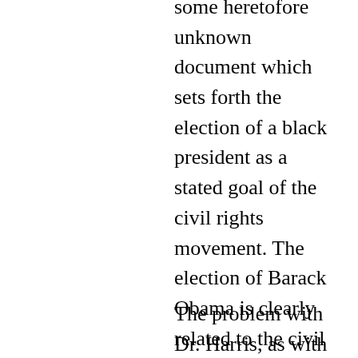some heretofore unknown document which sets forth the election of a black president as a stated goal of the civil rights movement. The election of Barack Obama is clearly related to the civil rights movement in that advances in voting, employment and academic opportunity helped to create an environment in which he could have been elected. But to suggest that the election of a black president has ever been a goal of the civil rights movement is not supported by any real evidence and makes no sense.
The problem with Dr. Harris, as with other ebony tower occupants,